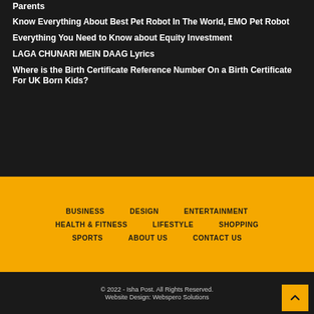Parents
Know Everything About Best Pet Robot In The World, EMO Pet Robot
Everything You Need to Know about Equity Investment
LAGA CHUNARI MEIN DAAG Lyrics
Where is the Birth Certificate Reference Number On a Birth Certificate For UK Born Kids?
BUSINESS   DESIGN   ENTERTAINMENT   HEALTH & FITNESS   LIFESTYLE   SHOPPING   SPORTS   ABOUT US   CONTACT US
© 2022 - Isha Post. All Rights Reserved.
Website Design: Webspero Solutions